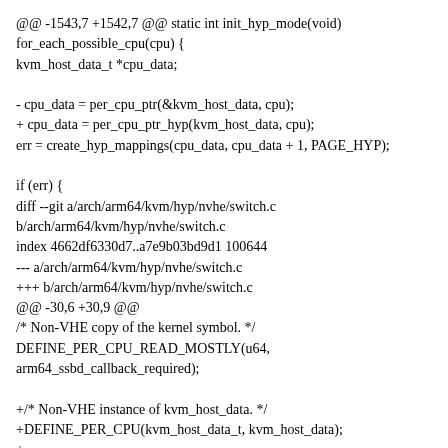@@ -1543,7 +1542,7 @@ static int init_hyp_mode(void)
for_each_possible_cpu(cpu) {
kvm_host_data_t *cpu_data;

- cpu_data = per_cpu_ptr(&kvm_host_data, cpu);
+ cpu_data = per_cpu_ptr_hyp(kvm_host_data, cpu);
err = create_hyp_mappings(cpu_data, cpu_data + 1, PAGE_HYP);

if (err) {
diff --git a/arch/arm64/kvm/hyp/nvhe/switch.c b/arch/arm64/kvm/hyp/nvhe/switch.c
index 4662df6330d7..a7e9b03bd9d1 100644
--- a/arch/arm64/kvm/hyp/nvhe/switch.c
+++ b/arch/arm64/kvm/hyp/nvhe/switch.c
@@ -30,6 +30,9 @@
/* Non-VHE copy of the kernel symbol. */
DEFINE_PER_CPU_READ_MOSTLY(u64,
arm64_ssbd_callback_required);

+/* Non-VHE instance of kvm_host_data. */
+DEFINE_PER_CPU(kvm_host_data_t, kvm_host_data);
+
static void __activate_traps(struct kvm_vcpu *vcpu)
{